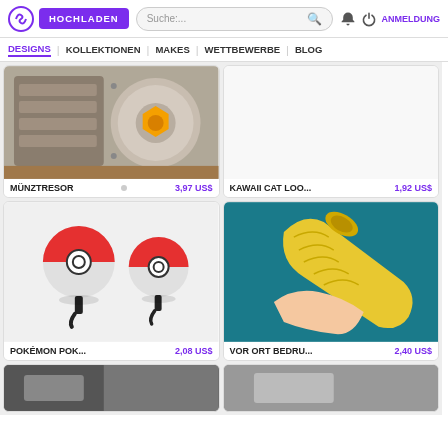HOCHLADEN | Suche... | ANMELDUNG
DESIGNS | KOLLEKTIONEN | MAKES | WETTBEWERBE | BLOG
[Figure (photo): 3D printed coin safe/vault mechanism with orange gear]
MÜNZTRESOR   3,97 US$
[Figure (photo): Kawaii cat item placeholder, white background]
KAWAII CAT LOO...   1,92 US$
[Figure (photo): Two Pokémon Pokéball wall hooks on white wall]
POKÉMON POK...   2,08 US$
[Figure (photo): Yellow 3D printed textured tube/case held in hand against teal background]
VOR ORT BEDRU...   2,40 US$
[Figure (photo): Partial view of another item at bottom of page]